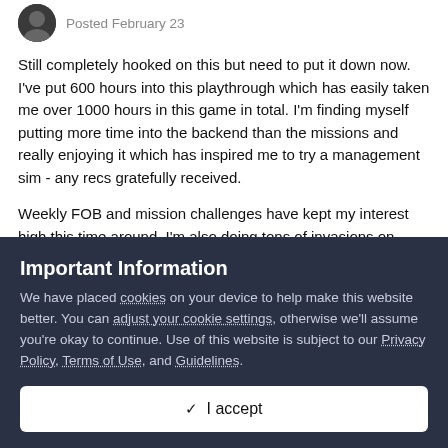Posted February 23
Still completely hooked on this but need to put it down now. I've put 600 hours into this playthrough which has easily taken me over 1000 hours in this game in total. I'm finding myself putting more time into the backend than the missions and really enjoying it which has inspired me to try a management sim - any recs gratefully received.
Weekly FOB and mission challenges have kept my interest high this time around, I'm also doing tons of invasions on other player's bases and attempting to S-Rank all the total stealth
Important Information
We have placed cookies on your device to help make this website better. You can adjust your cookie settings, otherwise we'll assume you're okay to continue. Use of this website is subject to our Privacy Policy, Terms of Use, and Guidelines.
✓  I accept